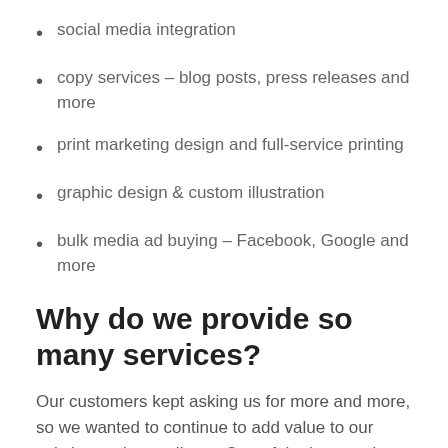social media integration
copy services – blog posts, press releases and more
print marketing design and full-service printing
graphic design & custom illustration
bulk media ad buying – Facebook, Google and more
Why do we provide so many services?
Our customers kept asking us for more and more, so we wanted to continue to add value to our existing and new clients. One of the key services we added was print marketing. Our print designers have won numerous print design awards for outstanding design. And our Wylie s